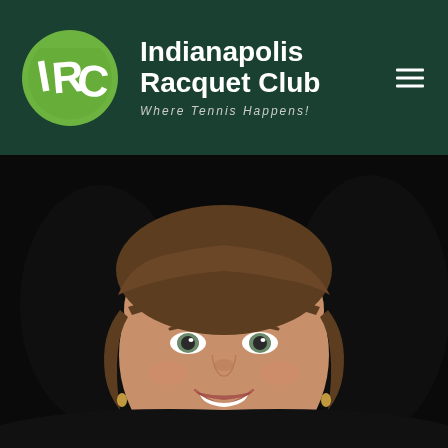[Figure (logo): Indianapolis Racquet Club logo: green circle with stylized IRC letters in white/black on dark green background header bar. Tagline: Where Tennis Happens!]
Indianapolis Racquet Club
Where Tennis Happens!
[Figure (photo): Headshot portrait of a smiling woman with brown bangs and hair pulled back, wearing small gold hoop earrings and a dark top, photographed against a black background.]